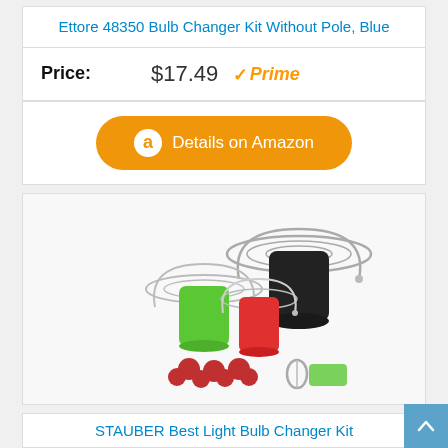Ettore 48350 Bulb Changer Kit Without Pole, Blue
Price: $17.49 ✓Prime
Details on Amazon
[Figure (photo): Product photo showing STAUBER Best Light Bulb Changer Kit components: green, red, and black bulb changer cups with wire frames, red suction cups, and accessories on white background]
STAUBER Best Light Bulb Changer Kit